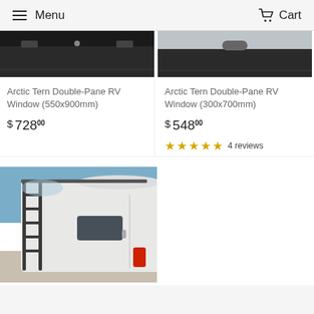Menu  Cart
[Figure (photo): Close-up of Arctic Tern double-pane RV window frame, top view, dark/black frame on light background]
Arctic Tern Double-Pane RV Window (550x900mm)
$ 728 00
[Figure (photo): Close-up of Arctic Tern double-pane RV window frame, top view, dark frame with latch visible]
Arctic Tern Double-Pane RV Window (300x700mm)
$ 548 00
★★★★★ 4 reviews
[Figure (photo): White van/RV with dark ladder on rear and small rectangular window installed, blue sky background]